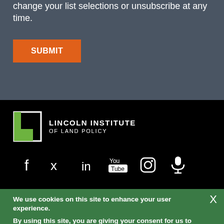change your list selections or unsubscribe at any time.
SUBMIT
[Figure (logo): Lincoln Institute of Land Policy logo — white square bracket L mark with organization name in white text]
[Figure (infographic): Social media icons row: Facebook, Twitter, LinkedIn, YouTube, Instagram, Podcast/microphone — all white on black background]
We use cookies on this site to enhance your user experience.
By using this site, you are giving your consent for us to set cookies. View our privacy policy.